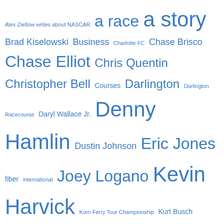Alex Zietlow writes about NASCAR, a race, a story, Brad Kiselowski, Business, Charlotte FC, Chase Brisco, Chase Elliot, Chris Quentin, Christopher Bell, Courses, Darlington, Darlington Racecourse, Daryl Wallace Jr., Denny Hamlin, Dustin Johnson, Eric Jones, fiber, international, Joey Logano, Kevin Harvick, Korn Ferry Tour Championship, Kurt Busch, Kyle Bush, Kyle Larson, Life Golf Boston, life is golf, live golf
We use cookies on our website to give you the most relevant experience by remembering your preferences and repeat visits. By clicking “Accept All”, you consent to the use of ALL the cookies. However, you may visit "Cookie Settings" to provide a controlled consent.